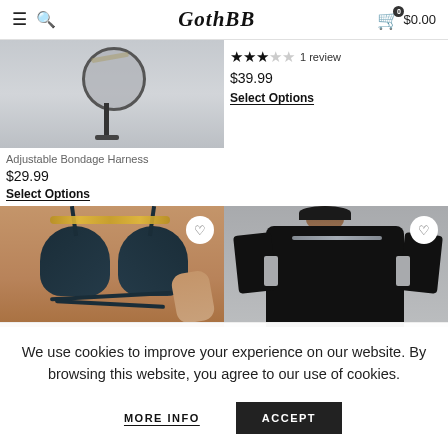GothBB — $0.00
[Figure (photo): Product photo of adjustable bondage harness on a display stand, grey background]
Adjustable Bondage Harness
$29.99
Select Options
3 out of 5 stars, 1 review
$39.99
Select Options
[Figure (photo): Product photo of dark teal bralette/bikini top with cross straps and gold chain necklace]
[Figure (photo): Product photo of black crop top/t-shirt with chain necklace]
We use cookies to improve your experience on our website. By browsing this website, you agree to our use of cookies.
MORE INFO
ACCEPT